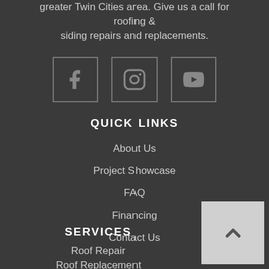greater Twin Cities area. Give us a call for roofing & siding repairs and replacements.
[Figure (illustration): Three social media icon buttons: Facebook, Instagram, YouTube — each in a square border outline]
QUICK LINKS
About Us
Project Showcase
FAQ
Financing
Contact Us
SERVICES
Roof Repair
Roof Replacement
[Figure (illustration): Light gray back-to-top button with an upward chevron arrow in the bottom-right corner]